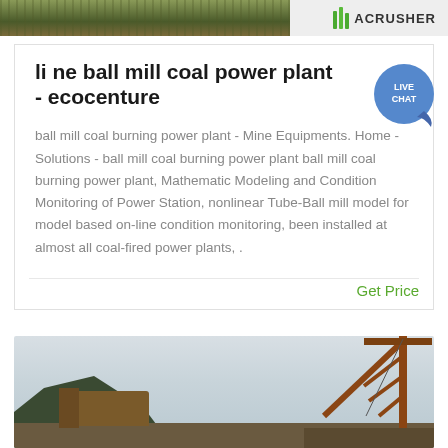[Figure (photo): Top banner with outdoor photo on left and ACRUSHER logo on right]
li ne ball mill coal power plant - ecocenture
ball mill coal burning power plant - Mine Equipments. Home - Solutions - ball mill coal burning power plant ball mill coal burning power plant, Mathematic Modeling and Condition Monitoring of Power Station, nonlinear Tube-Ball mill model for model based on-line condition monitoring, been installed at almost all coal-fired power plants, .
Get Price
[Figure (photo): Industrial crane and mining equipment against a cloudy sky with mountains in background]